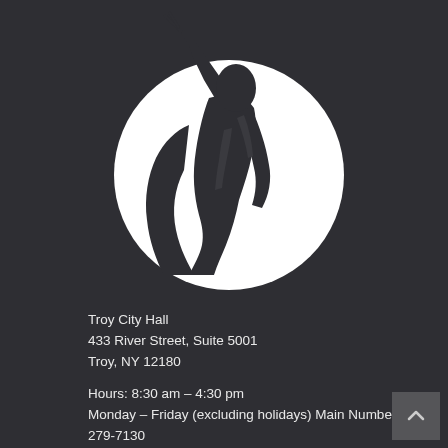[Figure (logo): City of Troy logo: silhouette of a figure (Uncle Sam or herald) blowing a trumpet, shown against a white circle on a dark background]
Troy City Hall
433 River Street, Suite 5001
Troy, NY 12180
Hours: 8:30 am – 4:30 pm
Monday – Friday (excluding holidays) Main Number (518) 279-7130
Department Directory